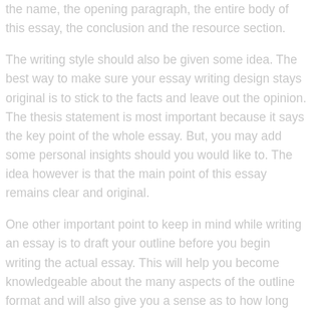the name, the opening paragraph, the entire body of this essay, the conclusion and the resource section.
The writing style should also be given some idea. The best way to make sure your essay writing design stays original is to stick to the facts and leave out the opinion. The thesis statement is most important because it says the key point of the whole essay. But, you may add some personal insights should you would like to. The idea however is that the main point of this essay remains clear and original.
One other important point to keep in mind while writing an essay is to draft your outline before you begin writing the actual essay. This will help you become knowledgeable about the many aspects of the outline format and will also give you a sense as to how long the writing will require. Therefore, you are able to ascertain how